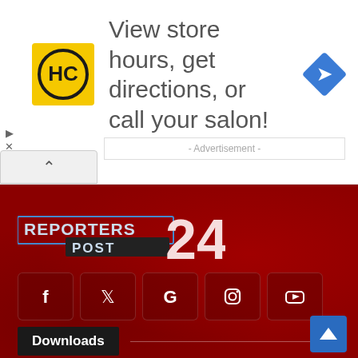[Figure (infographic): Advertisement banner with HC logo (yellow square with HC text), text 'View store hours, get directions, or call your salon!' and a blue navigation diamond icon on the right]
- Advertisement -
[Figure (logo): Reporters Post 24 logo: red and white text on dark red background]
[Figure (infographic): Social media icons row: Facebook (f), Twitter (bird), Google (G), Instagram (circle), YouTube (play button) - dark red square buttons]
Downloads
Operating System (OS)
Application Software